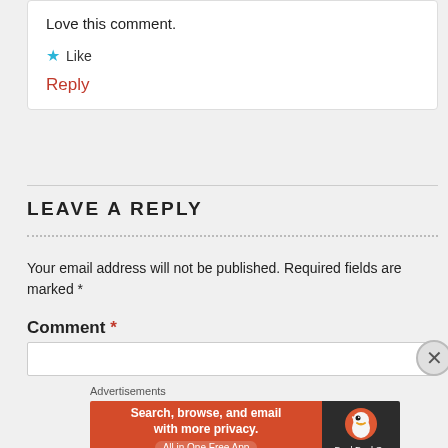Love this comment.
★ Like
Reply
LEAVE A REPLY
Your email address will not be published. Required fields are marked *
Comment *
[Figure (screenshot): DuckDuckGo advertisement banner: orange left panel with text 'Search, browse, and email with more privacy. All in One Free App', dark right panel with DuckDuckGo duck logo]